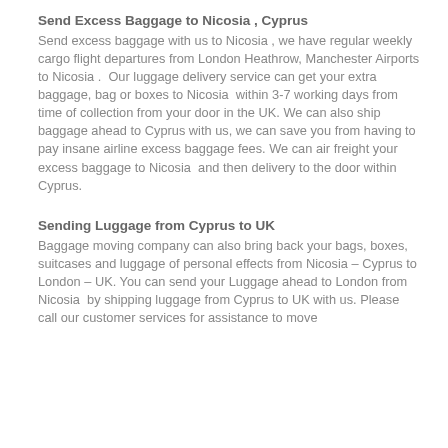Send Excess Baggage to Nicosia , Cyprus
Send excess baggage with us to Nicosia , we have regular weekly cargo flight departures from London Heathrow, Manchester Airports to Nicosia .  Our luggage delivery service can get your extra baggage, bag or boxes to Nicosia  within 3-7 working days from time of collection from your door in the UK. We can also ship baggage ahead to Cyprus with us, we can save you from having to pay insane airline excess baggage fees. We can air freight your excess baggage to Nicosia  and then delivery to the door within Cyprus.
Sending Luggage from Cyprus to UK
Baggage moving company can also bring back your bags, boxes, suitcases and luggage of personal effects from Nicosia – Cyprus to London – UK. You can send your Luggage ahead to London from Nicosia  by shipping luggage from Cyprus to UK with us. Please call our customer services for assistance to move